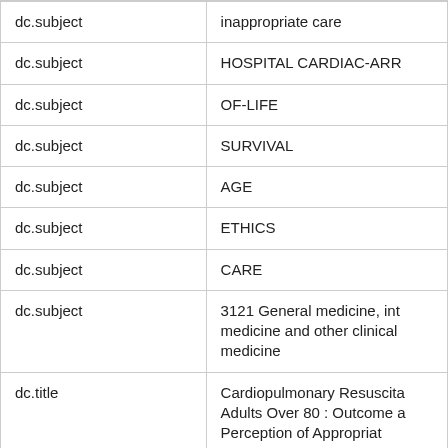| dc.subject | inappropriate care |
| dc.subject | HOSPITAL CARDIAC-ARR |
| dc.subject | OF-LIFE |
| dc.subject | SURVIVAL |
| dc.subject | AGE |
| dc.subject | ETHICS |
| dc.subject | CARE |
| dc.subject | 3121 General medicine, int medicine and other clinical medicine |
| dc.title | Cardiopulmonary Resuscita Adults Over 80 : Outcome a Perception of Appropriat |